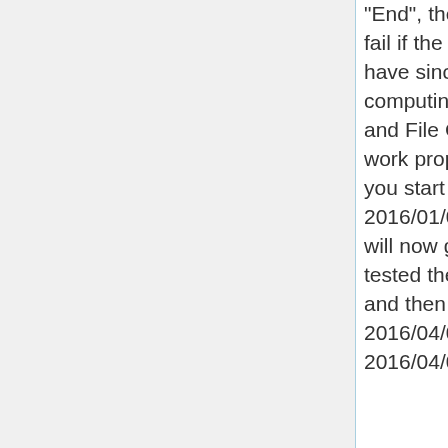"End", then the existing algorithm would would fail if the interval spanned a leap year day. I have since updated the algorithm for computing "alarms" for the Update, File Write, and File Close operations so that they now work properly when spanning leap years. If you start a run on a leap year such as 2016/01/01 and run to 2016/03/01, then you will now get a restart file for 2016/03/01. I also tested the case if you start e.g. on 2015/12/01 and then run past New Year's Day to 2016/04/01, you will get output on 2016/04/01,